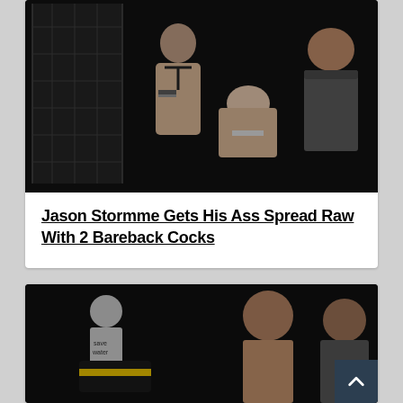[Figure (photo): Three men in a dark studio setting with leather gear and a metal cage/rack in the background]
Jason Stormme Gets His Ass Spread Raw With 2 Bareback Cocks
[Figure (photo): Multiple men in a dark studio with leather gear; a mannequin with 'save water' text visible in background; yellow-striped bag visible]